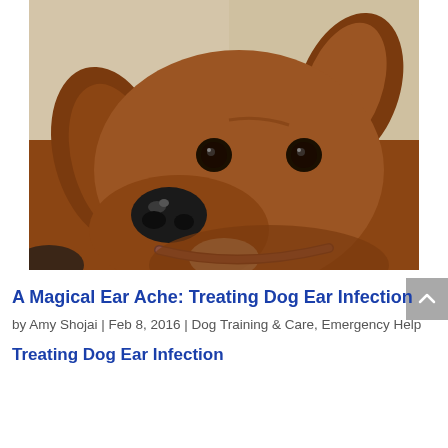[Figure (photo): Close-up photo of a brown/tan dog (appears to be a Rhodesian Ridgeback or similar breed) looking toward the camera with a slightly tilted head. The dog has dark eyes, a black nose, and wears a brown collar.]
A Magical Ear Ache: Treating Dog Ear Infection
by Amy Shojai | Feb 8, 2016 | Dog Training & Care, Emergency Help
Treating Dog Ear Infection